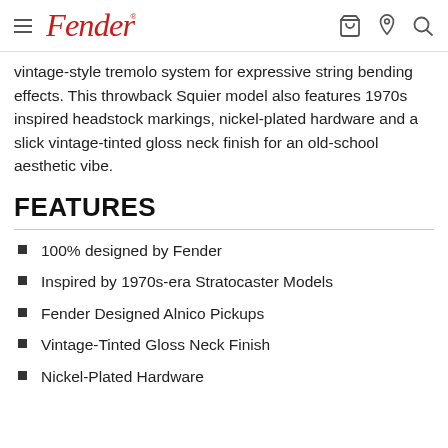Fender (logo, navigation icons)
vintage-style tremolo system for expressive string bending effects. This throwback Squier model also features 1970s inspired headstock markings, nickel-plated hardware and a slick vintage-tinted gloss neck finish for an old-school aesthetic vibe.
FEATURES
100% designed by Fender
Inspired by 1970s-era Stratocaster Models
Fender Designed Alnico Pickups
Vintage-Tinted Gloss Neck Finish
Nickel-Plated Hardware